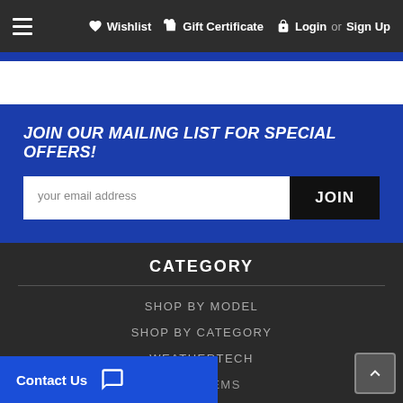Wishlist  Gift Certificate  Login or Sign Up
JOIN OUR MAILING LIST FOR SPECIAL OFFERS!
your email address  JOIN
CATEGORY
SHOP BY MODEL
SHOP BY CATEGORY
WEATHERTECH
GIFT ITEMS
Contact Us